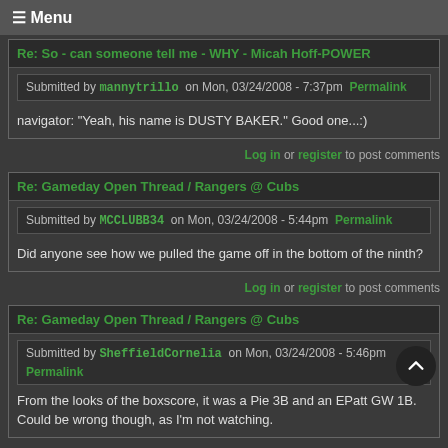≡ Menu
Re: So - can someone tell me - WHY - Micah Hoff-POWER
Submitted by mannytrillo on Mon, 03/24/2008 - 7:37pm Permalink
navigator: "Yeah, his name is DUSTY BAKER." Good one...:)
Log in or register to post comments
Re: Gameday Open Thread / Rangers @ Cubs
Submitted by MCCLUBB34 on Mon, 03/24/2008 - 5:44pm Permalink
Did anyone see how we pulled the game off in the bottom of the ninth?
Log in or register to post comments
Re: Gameday Open Thread / Rangers @ Cubs
Submitted by SheffieldCornelia on Mon, 03/24/2008 - 5:46pm Permalink
From the looks of the boxscore, it was a Pie 3B and an EPatt GW 1B. Could be wrong though, as I'm not watching.
Log in or register to post comments